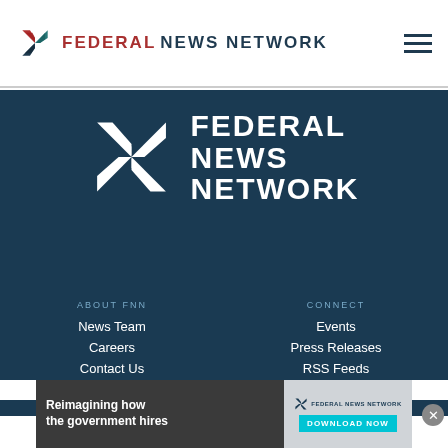[Figure (logo): Federal News Network logo in header with colorful pinwheel icon and text]
FEDERAL NEWS NETWORK
[Figure (logo): Large Federal News Network white logo centered on dark teal background]
ABOUT FNN
News Team
Careers
Contact Us
CONNECT
Events
Press Releases
RSS Feeds
PARTNERSHIPS
LISTEN
[Figure (infographic): Advertisement banner: Reimagining how the government hires, Federal News Network, Download Now button]